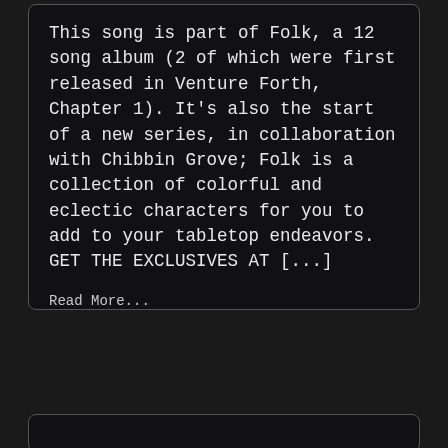This song is part of Folk, a 12 song album (2 of which were first released in Venture Forth, Chapter 1). It's also the start of a new series, in collaboration with Chibbin Grove; Folk is a collection of colorful and eclectic characters for you to add to your tabletop endeavors. GET THE EXCLUSIVES AT [...]
Read More...
[Figure (photo): Partial view of an image at the bottom of the page, appears to show a landscape or scenic photo, partially cut off]